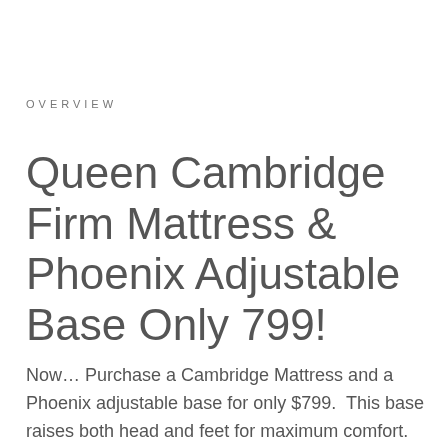OVERVIEW
Queen Cambridge Firm Mattress & Phoenix Adjustable Base Only 799!
Now… Purchase a Cambridge Mattress and a Phoenix adjustable base for only $799.  This base raises both head and feet for maximum comfort. Compare to competitors charging three